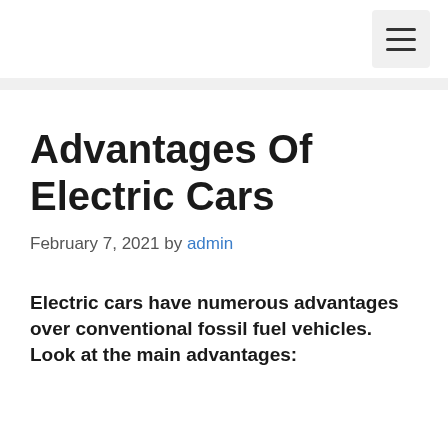≡
Advantages Of Electric Cars
February 7, 2021 by admin
Electric cars have numerous advantages over conventional fossil fuel vehicles. Look at the main advantages: